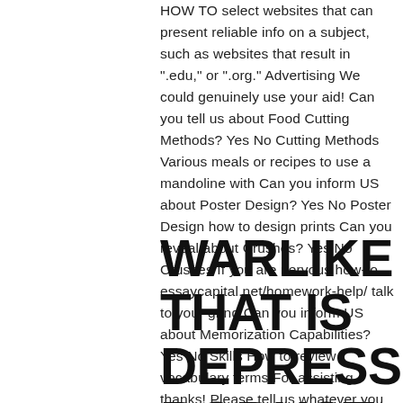HOW TO select websites that can present reliable info on a subject, such as websites that result in ".edu," or ".org." Advertising We could genuinely use your aid! Can you tell us about Food Cutting Methods? Yes No Cutting Methods Various meals or recipes to use a mandoline with Can you inform US about Poster Design? Yes No Poster Design how to design prints Can you reveal about Crushes? Yes No Crushes If you are nervous how-to essaycapital.net/homework-help/ talk to your grind Can you inform US about Memorization Capabilities? Yes No Skills How to review vocabulary terms For assisting thanks! Please tell us whatever you learn about... Tell everything you realize here to us.
WARLIKE THAT IS DEPRESSING, ROBUST,